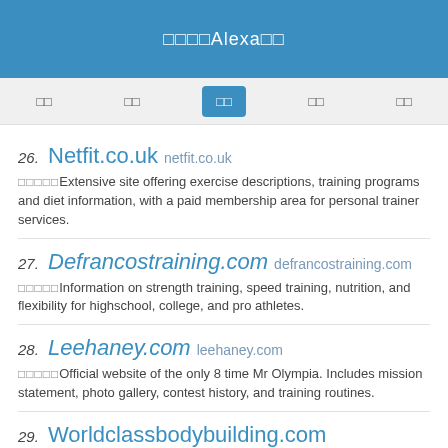□□□□Alexa□□
□□  □□  □□  □□  □□
26. Netfit.co.uk netfit.co.uk — □□□□□Extensive site offering exercise descriptions, training programs and diet information, with a paid membership area for personal trainer services.
27. Defrancostraining.com defrancostraining.com — □□□□□Information on strength training, speed training, nutrition, and flexibility for highschool, college, and pro athletes.
28. Leehaney.com leehaney.com — □□□□□Official website of the only 8 time Mr Olympia. Includes mission statement, photo gallery, contest history, and training routines.
29. Worldclassbodybuilding.com worldclassbodybuilding.com — □□□□□Offers weight lifting, steroid, prohormone, diet and nutrition forums.
30. Ironmagazine.com ironmagazine.com